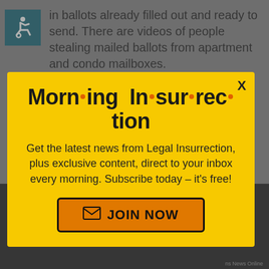[Figure (illustration): Wheelchair accessibility icon in teal/dark green square]
in ballots already filled out and ready to send. There are videos of people stealing mailed ballots from apartment and condo mailboxes.
[Figure (infographic): Yellow modal popup: Morning Insurrection newsletter signup with JOIN NOW button]
"elections" without any further ado.
READ MORE